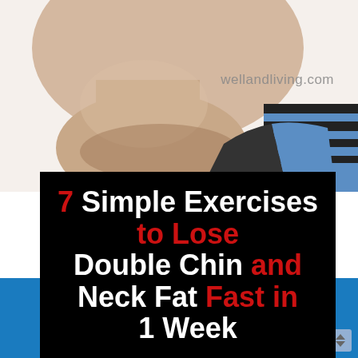[Figure (photo): Side profile close-up of a person with a double chin and neck fat, on white background. Person wearing blue and black striped top.]
wellandliving.com
7 Simple Exercises to Lose Double Chin and Neck Fat Fast in 1 Week
[Figure (photo): Before and after style comparison photos of a woman's face/neck profile against a blue background, showing double chin before and after.]